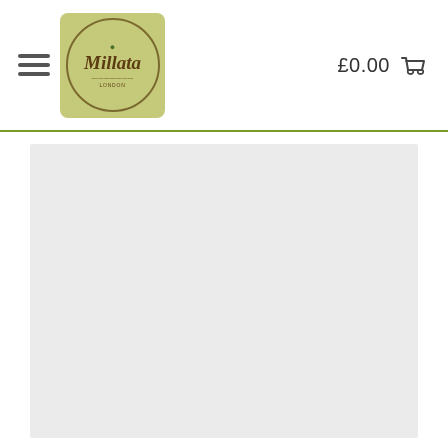[Figure (logo): Millata brand logo in a square green background with circular border and leaf icon]
£0.00
[Figure (other): Light gray placeholder image area below the navigation header]